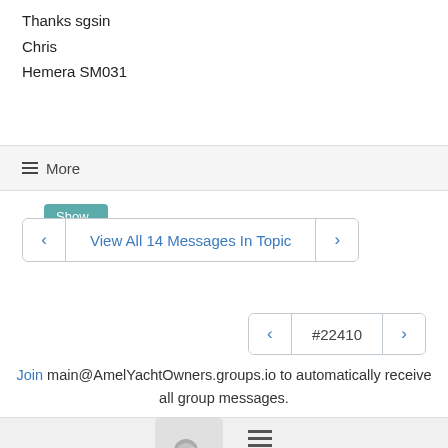Thanks sgsin
Chris
Hemera SM031
Show quoted text
≡ More
View All 14 Messages In Topic
#22410
Join main@AmelYachtOwners.groups.io to automatically receive all group messages.
[Figure (screenshot): Chat icon button in footer bar]
[Figure (screenshot): Hamburger menu icon in footer bar]